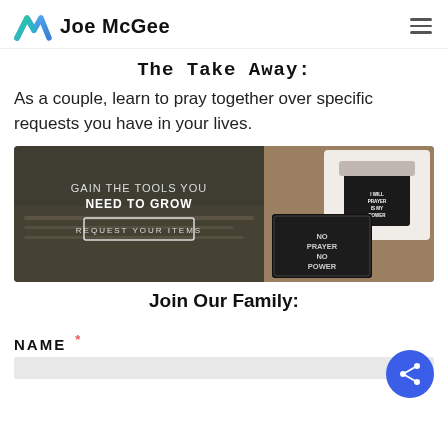Joe McGee
The Take Away:
As a couple, learn to pray together over specific requests you have in your lives.
[Figure (infographic): Banner ad with dark background showing a book/bible, a t-shirt with text, and an album/book cover. Text reads: GAIN THE TOOLS YOU NEED TO GROW. Button: REQUEST YOUR ITEMS. Products shown include 'No Prayer No Power' items.]
Join Our Family:
NAME *